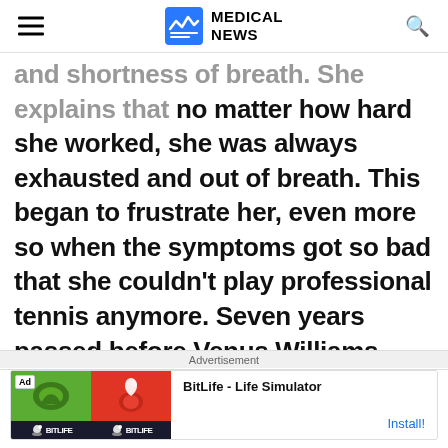MEDICAL NEWS
and shortness of breath. She explains that no matter how hard she worked, she was always exhausted and out of breath. This began to frustrate her, even more so when the symptoms got so bad that she couldn't play professional tennis anymore. Seven years passed before Venus Williams finally received a diagnosis of an autoimmune disease which is called
Advertisement
[Figure (screenshot): BitLife - Life Simulator advertisement banner with green and red app icon images on left and app name and Install button on right]